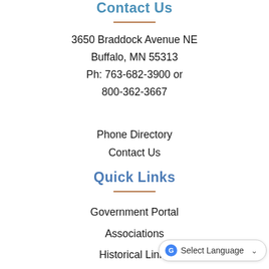Contact Us
3650 Braddock Avenue NE
Buffalo, MN 55313
Ph: 763-682-3900 or
800-362-3667
Phone Directory
Contact Us
Quick Links
Government Portal
Associations
Historical Links
Salary Data Notification
Sheriff's Jail Roster